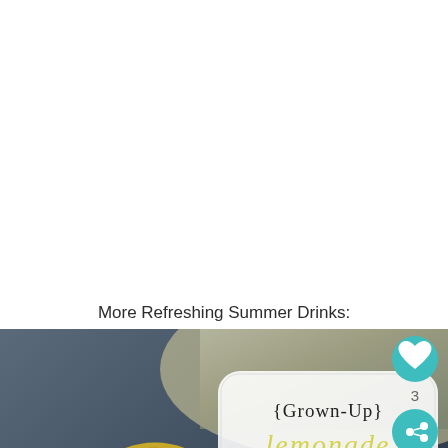More Refreshing Summer Drinks:
[Figure (photo): Photo of a glass of lemonade with a lemon slice garnish and a decorative label card reading '{Grown-Up} Lemonade' in a script font, with a pool or outdoor setting in the background. Social sharing buttons (heart, share) visible. 'What's Next: Easy Crafts' overlay in bottom right.]